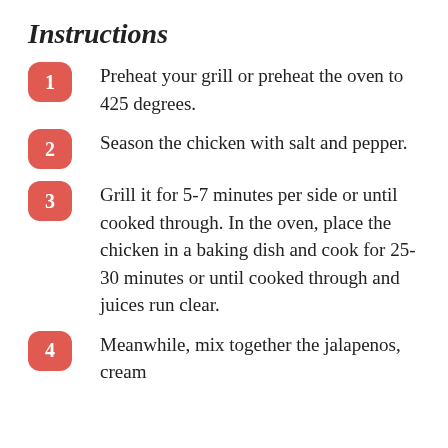Instructions
1. Preheat your grill or preheat the oven to 425 degrees.
2. Season the chicken with salt and pepper.
3. Grill it for 5-7 minutes per side or until cooked through. In the oven, place the chicken in a baking dish and cook for 25-30 minutes or until cooked through and juices run clear.
4. Meanwhile, mix together the jalapenos, cream ...